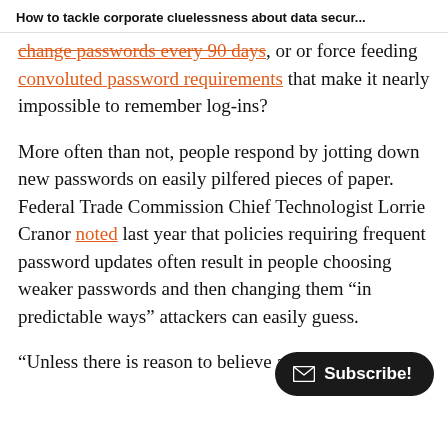How to tackle corporate cluelessness about data secur...
change passwords every 90 days, or or force feeding convoluted password requirements that make it nearly impossible to remember log-ins?
More often than not, people respond by jotting down new passwords on easily pilfered pieces of paper. Federal Trade Commission Chief Technologist Lorrie Cranor noted last year that policies requiring frequent password updates often result in people choosing weaker passwords and then changing them “in predictable ways” attackers can easily guess.
“Unless there is reason to believe a password has